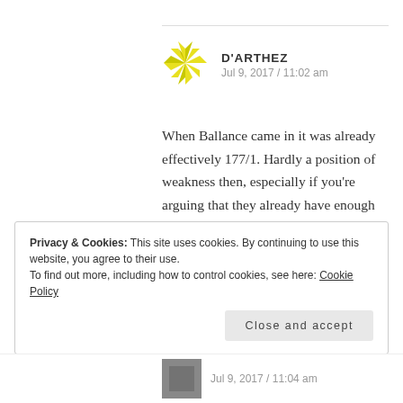[Figure (logo): Yellow geometric snowflake/star logo for D'Arthez blog]
D'ARTHEZ
Jul 9, 2017 / 11:02 am
When Ballance came in it was already effectively 177/1. Hardly a position of weakness then, especially if you're arguing that they already have enough when they're 230 ahead. Since Jennings fell, Cook slowed down since then.
Privacy & Cookies: This site uses cookies. By continuing to use this website, you agree to their use.
To find out more, including how to control cookies, see here: Cookie Policy
Close and accept
Jul 9, 2017 / 11:04 am